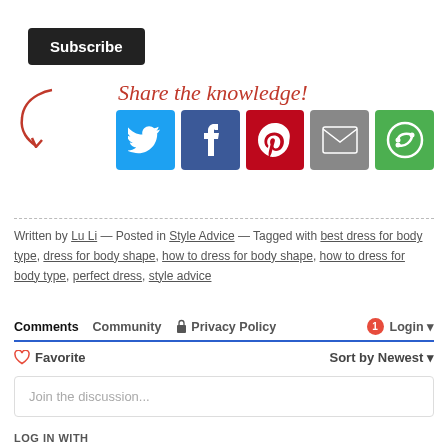[Figure (other): Black Subscribe button]
[Figure (infographic): Share the knowledge! section with red arrow, cursive red text, and social media share buttons: Twitter (blue bird), Facebook (blue f), Pinterest (red P), Email (grey envelope), and a green circular icon]
Written by Lu Li — Posted in Style Advice — Tagged with best dress for body type, dress for body shape, how to dress for body shape, how to dress for body type, perfect dress, style advice
Comments   Community   🔒 Privacy Policy   1   Login ▾
♡ Favorite   Sort by Newest ▾
Join the discussion...
LOG IN WITH